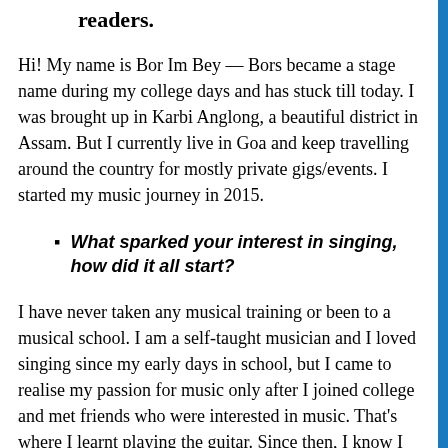readers.
Hi! My name is Bor Im Bey — Bors became a stage name during my college days and has stuck till today. I was brought up in Karbi Anglong, a beautiful district in Assam. But I currently live in Goa and keep travelling around the country for mostly private gigs/events. I started my music journey in 2015.
What sparked your interest in singing, how did it all start?
I have never taken any musical training or been to a musical school. I am a self-taught musician and I loved singing since my early days in school, but I came to realise my passion for music only after I joined college and met friends who were interested in music. That's where I learnt playing the guitar. Since then, I know I